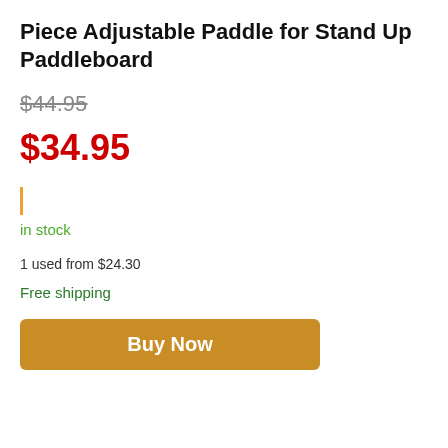Piece Adjustable Paddle for Stand Up Paddleboard
$44.95
$34.95
in stock
1 used from $24.30
Free shipping
Buy Now